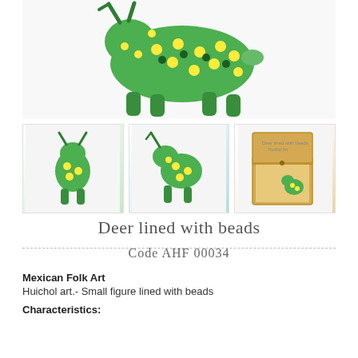[Figure (photo): Main photo of a Huichol bead-lined deer figure, green and yellow beads, animal viewed from above/side on white background]
[Figure (photo): Thumbnail 1: Front view of small green/yellow bead-lined deer figure on white background]
[Figure (photo): Thumbnail 2: Side/back view of small green/yellow bead-lined deer figure on white background]
[Figure (photo): Thumbnail 3: Small bead-lined deer figure inside an open wooden box on white background]
Deer lined with beads
Code AHF 00034
Mexican Folk Art
Huichol art.- Small figure lined with beads
Characteristics: